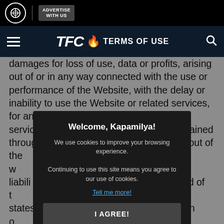TFC TERMS OF USE
damages for loss of use, data or profits, arising out of or in any way connected with the use or performance of the Website, with the delay or inability to use the Website or related services, for any information, software, products, services, content and related graphics obtained through the Website, or otherwise arising out of the use of the Website, whether based on contract, tort, negligence, strict liability or otherwise, even if ABS-CBN or any of its suppliers has been advised of the possibility of damages. Because some states/jurisdictions do not allow the exclusion or limitation of liability for consequential or incidental damages, the above limitation may not apply to you. If you are dissatisfied with any portion of the Website, or with any of these terms of use, your sole and exclusive remedy is to discontinue using the Website.
Welcome, Kapamilya! We use cookies to improve your browsing experience. Continuing to use this site means you agree to our use of cookies. Tell me more! I AGREE!